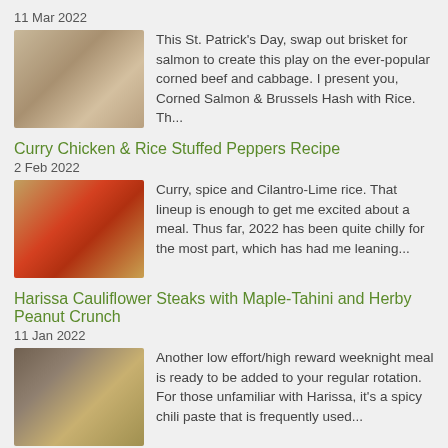11 Mar 2022
This St. Patrick's Day, swap out brisket for salmon to create this play on the ever-popular corned beef and cabbage. I present you, Corned Salmon & Brussels Hash with Rice. Th...
Curry Chicken & Rice Stuffed Peppers Recipe
2 Feb 2022
Curry, spice and Cilantro-Lime rice. That lineup is enough to get me excited about a meal. Thus far, 2022 has been quite chilly for the most part, which has had me leaning...
Harissa Cauliflower Steaks with Maple-Tahini and Herby Peanut Crunch
11 Jan 2022
Another low effort/high reward weeknight meal is ready to be added to your regular rotation. For those unfamiliar with Harissa, it's a spicy chili paste that is frequently used...
Gochujang Salmon & Roasted Tamari Carrots Recipe